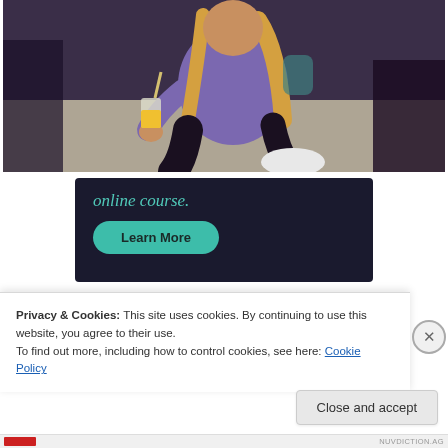[Figure (photo): A girl in a purple long-sleeve shirt sitting on a carpeted floor holding a yellow/orange drink with a straw]
online course.
Learn More
Privacy & Cookies: This site uses cookies. By continuing to use this website, you agree to their use.
To find out more, including how to control cookies, see here: Cookie Policy
Close and accept